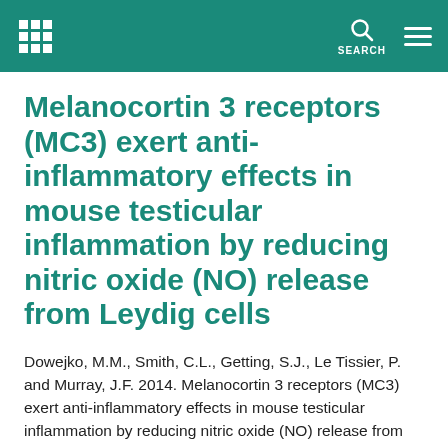Melanocortin 3 receptors (MC3) exert anti-inflammatory effects in mouse testicular inflammation by reducing nitric oxide (NO) release from Leydig cells — site header with logo, search, and menu
Melanocortin 3 receptors (MC3) exert anti-inflammatory effects in mouse testicular inflammation by reducing nitric oxide (NO) release from Leydig cells
Dowejko, M.M., Smith, C.L., Getting, S.J., Le Tissier, P. and Murray, J.F. 2014. Melanocortin 3 receptors (MC3) exert anti-inflammatory effects in mouse testicular inflammation by reducing nitric oxide (NO) release from Leydig cells. Society for